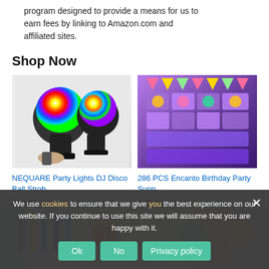program designed to provide a means for us to earn fees by linking to Amazon.com and affiliated sites.
Shop Now
[Figure (photo): NEQUARE Party Lights DJ Disco Ball Strobe lights product photo showing two colorful rainbow disco ball lights with a remote control]
NEQUARE Party Lights DJ Disco Ball Strob...
$13.96 $30.99 prime
[Figure (photo): 286 PCS Encanto Birthday Party Supplies product photo showing purple-themed party decorations set]
286 PCS Encanto Birthday Party Supp...
$37.99 $49.99 prime
We use cookies to ensure that we give you the best experience on our website. If you continue to use this site we will assume that you are happy with it.
Ok   No   Privacy policy